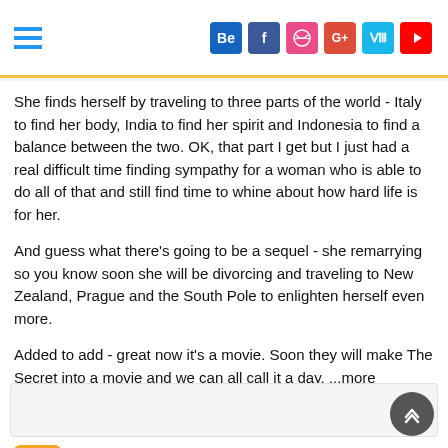Social media navigation header with hamburger menu and icons: Be, f, dribbble, G+, Vimeo, YouTube
She finds herself by traveling to three parts of the world - Italy to find her body, India to find her spirit and Indonesia to find a balance between the two. OK, that part I get but I just had a real difficult time finding sympathy for a woman who is able to do all of that and still find time to whine about how hard life is for her.
And guess what there's going to be a sequel - she remarrying so you know soon she will be divorcing and traveling to New Zealand, Prague and the South Pole to enlighten herself even more.
Added to add - great now it's a movie. Soon they will make The Secret into a movie and we can all call it a day. ...more
1 ☆
May 28, 2008
This review has been hidden because it contains spoilers. To view